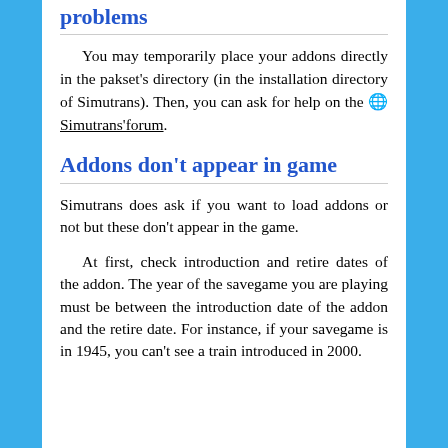problems
You may temporarily place your addons directly in the pakset's directory (in the installation directory of Simutrans). Then, you can ask for help on the 🌐 Simutrans'forum.
Addons don't appear in game
Simutrans does ask if you want to load addons or not but these don't appear in the game.
At first, check introduction and retire dates of the addon. The year of the savegame you are playing must be between the introduction date of the addon and the retire date. For instance, if your savegame is in 1945, you can't see a train introduced in 2000.